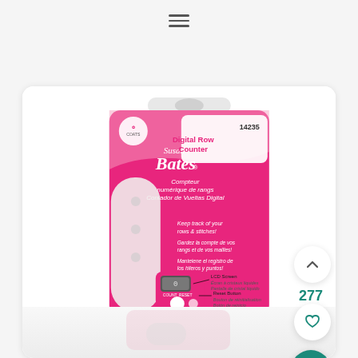[Figure (screenshot): Mobile app interface showing Susan Bates Digital Row Counter product (item 14235) on a pink retail packaging. The package features the Coats logo, Susan Bates brand name, and describes the product in English, French, and Spanish. Features listed: LCD Screen, Reset Button, Tap to add row. Right side has floating UI buttons: up arrow, heart/favorite (277 count), and teal search button.]